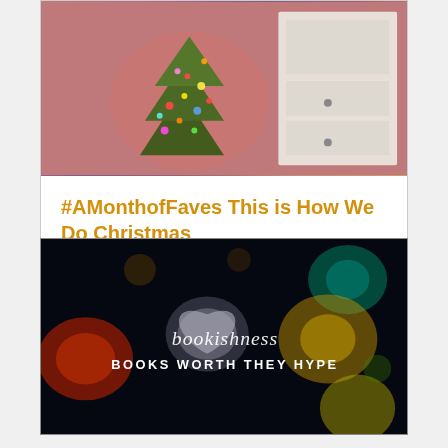[Figure (photo): Photo of a decorated Christmas tree with colorful lights in a room with a white dresser]
#AMonthofFaves This is How We Do Christmas
December 19, 2018
[Figure (photo): Dark background with bokeh heart-shaped lights, showing 'bookishness' in script and 'BOOKS WORTH THEY HYPE' in bold text]